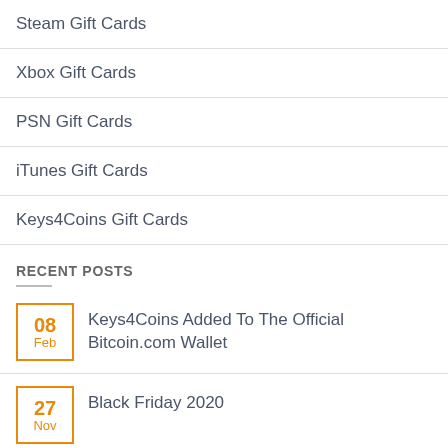Steam Gift Cards
Xbox Gift Cards
PSN Gift Cards
iTunes Gift Cards
Keys4Coins Gift Cards
RECENT POSTS
08 Feb — Keys4Coins Added To The Official Bitcoin.com Wallet
27 Nov — Black Friday 2020
24 Sep — Keys4Coins now accepts Ethereum – buy pc games with Ether
02 Dec — Cyber Monday 2019